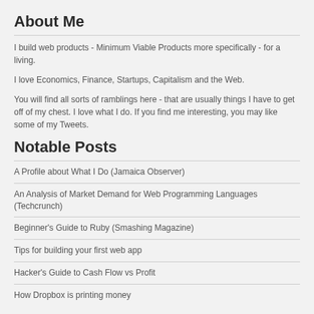About Me
I build web products - Minimum Viable Products more specifically - for a living.
I love Economics, Finance, Startups, Capitalism and the Web.
You will find all sorts of ramblings here - that are usually things I have to get off of my chest. I love what I do. If you find me interesting, you may like some of my Tweets.
Notable Posts
A Profile about What I Do (Jamaica Observer)
An Analysis of Market Demand for Web Programming Languages (Techcrunch)
Beginner's Guide to Ruby (Smashing Magazine)
Tips for building your first web app
Hacker's Guide to Cash Flow vs Profit
How Dropbox is printing money